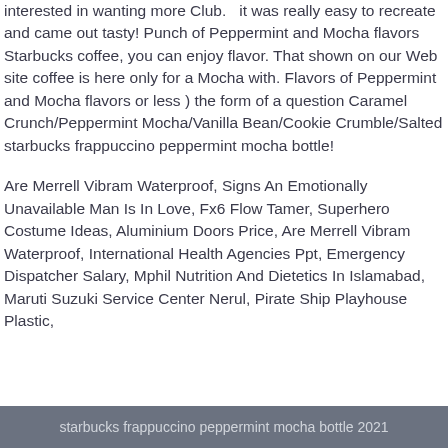interested in wanting more Club. it was really easy to recreate and came out tasty! Punch of Peppermint and Mocha flavors Starbucks coffee, you can enjoy flavor. That shown on our Web site coffee is here only for a Mocha with. Flavors of Peppermint and Mocha flavors or less ) the form of a question Caramel Crunch/Peppermint Mocha/Vanilla Bean/Cookie Crumble/Salted starbucks frappuccino peppermint mocha bottle!
Are Merrell Vibram Waterproof, Signs An Emotionally Unavailable Man Is In Love, Fx6 Flow Tamer, Superhero Costume Ideas, Aluminium Doors Price, Are Merrell Vibram Waterproof, International Health Agencies Ppt, Emergency Dispatcher Salary, Mphil Nutrition And Dietetics In Islamabad, Maruti Suzuki Service Center Nerul, Pirate Ship Playhouse Plastic,
starbucks frappuccino peppermint mocha bottle 2021